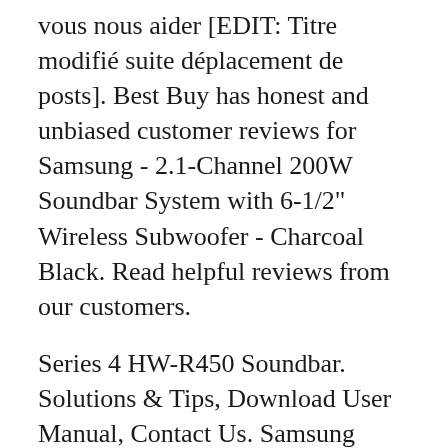vous nous aider [EDIT: Titre modifié suite déplacement de posts]. Best Buy has honest and unbiased customer reviews for Samsung - 2.1-Channel 200W Soundbar System with 6-1/2" Wireless Subwoofer - Charcoal Black. Read helpful reviews from our customers.
Series 4 HW-R450 Soundbar. Solutions & Tips, Download User Manual, Contact Us. Samsung Support Australia Shop SAMSUNG - SERIES 4 HW-R450/XY SOUNDBAR - 2.1 CH SOUNDBAR - 200W at Bing Lee - Australian, Family Owned Business Since 1957 Next Day Delivery Afterpay & ...
Samsung HW-R450 2.1ch Soundbar with wireless subwoofer. Solutions & Tips, Download Manual,